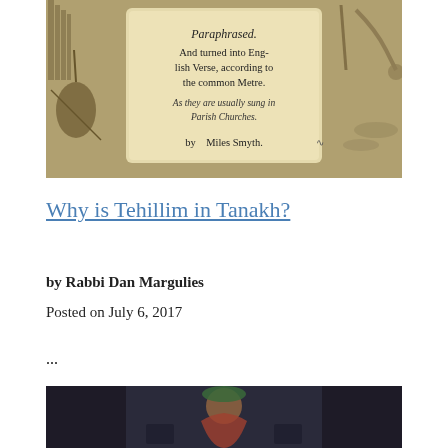[Figure (illustration): Historical engraved title page showing musical instruments and text reading 'Paraphrased. And turned into English Verse, according to the common Metre. As they are usually sung in Parish Churches. by Miles Smyth.']
Why is Tehillim in Tanakh?
by Rabbi Dan Margulies
Posted on July 6, 2017
...
[Figure (illustration): Painting or illustration showing a figure, partially visible, with dark tones and colorful clothing.]